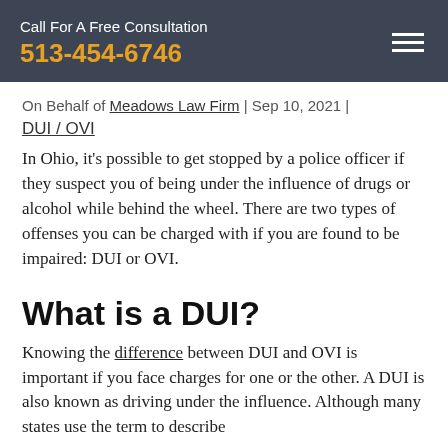Call For A Free Consultation
513-454-6746
On Behalf of Meadows Law Firm | Sep 10, 2021 | DUI / OVI
In Ohio, it's possible to get stopped by a police officer if they suspect you of being under the influence of drugs or alcohol while behind the wheel. There are two types of offenses you can be charged with if you are found to be impaired: DUI or OVI.
What is a DUI?
Knowing the difference between DUI and OVI is important if you face charges for one or the other. A DUI is also known as driving under the influence. Although many states use the term to describe